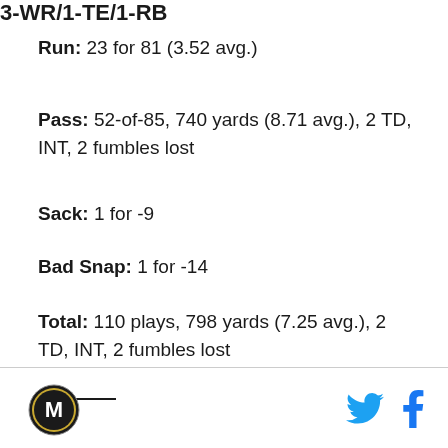Run: 23 for 81 (3.52 avg.)
Pass: 52-of-85, 740 yards (8.71 avg.), 2 TD, INT, 2 fumbles lost
Sack: 1 for -9
Bad Snap: 1 for -14
Total: 110 plays, 798 yards (7.25 avg.), 2 TD, INT, 2 fumbles lost
3-WR/1-TE/1-RB
[Figure (logo): Circular logo with letter M]
[Figure (logo): Twitter bird icon in blue]
[Figure (logo): Facebook f icon in blue]